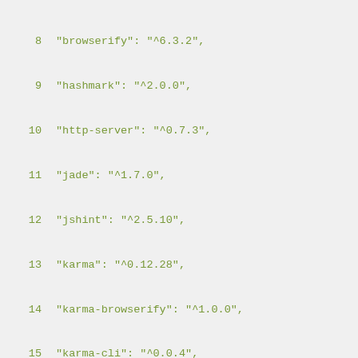8    "browserify": "^6.3.2",
9    "hashmark": "^2.0.0",
10   "http-server": "^0.7.3",
11   "jade": "^1.7.0",
12   "jshint": "^2.5.10",
13   "karma": "^0.12.28",
14   "karma-browserify": "^1.0.0",
15   "karma-cli": "^0.0.4",
16   "karma-mocha": "^0.1.10",
17   "karma-phantomjs-launcher": "^0.1.4",
18   "live-reload": "^0.2.0",
19   "minifyify": "^6.0.0",
20   "mocha": "^2.0.1",
21   "nodemon": "^1.2.1",
22   "opener": "^1.4.0",
23   "parallelshell": "^1.0.0",
24   "rimraf": "^2.2.8",
25   "s3-cli": "^0.11.1",
26   "stylus": "^0.49.3"
27   },
28   "scripts": {
29   "clean": "rimraf dist/*",